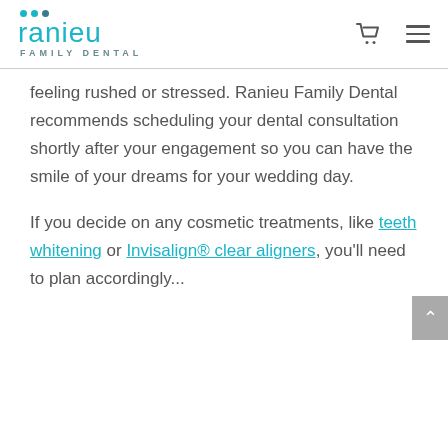ranieu FAMILY DENTAL
feeling rushed or stressed. Ranieu Family Dental recommends scheduling your dental consultation shortly after your engagement so you can have the smile of your dreams for your wedding day.
If you decide on any cosmetic treatments, like teeth whitening or Invisalign® clear aligners, you'll need to plan accordingly...